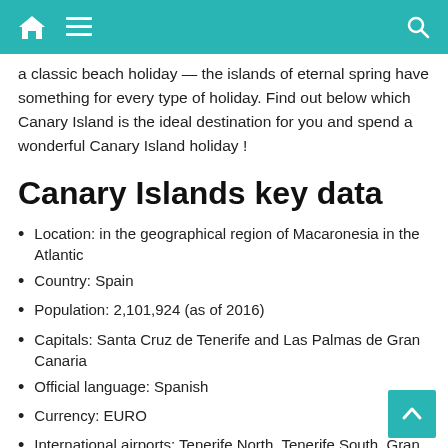Navigation bar with home, menu, and search icons
a classic beach holiday — the islands of eternal spring have something for every type of holiday. Find out below which Canary Island is the ideal destination for you and spend a wonderful Canary Island holiday !
Canary Islands key data
Location: in the geographical region of Macaronesia in the Atlantic
Country: Spain
Population: 2,101,924 (as of 2016)
Capitals: Santa Cruz de Tenerife and Las Palmas de Gran Canaria
Official language: Spanish
Currency: EURO
International airports: Tenerife North, Tenerife South, Gran Canaria, La Palma, Lanzarote and Fuerteventura
Flights within the Canary Islands: El Hierro and La Gomera
Time zone: UTC, UTC + 1 (March to October)